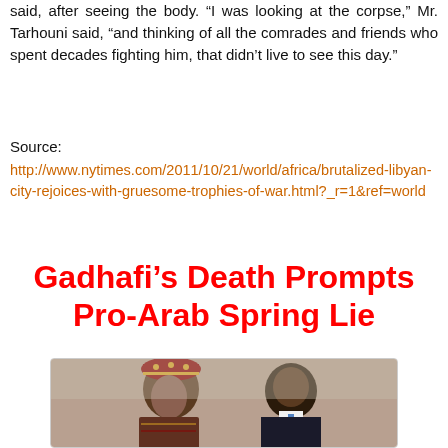said, after seeing the body. “I was looking at the corpse,” Mr. Tarhouni said, “and thinking of all the comrades and friends who spent decades fighting him, that didn’t live to see this day.”
Source:
http://www.nytimes.com/2011/10/21/world/africa/brutalized-libyan-city-rejoices-with-gruesome-trophies-of-war.html?_r=1&ref=world
Gadhafi’s Death Prompts Pro-Arab Spring Lie
[Figure (photo): Two men in close conversation, one wearing a decorative red and gold cap, the other in a dark suit with a blue tie, appearing to be Gaddafi and Obama.]